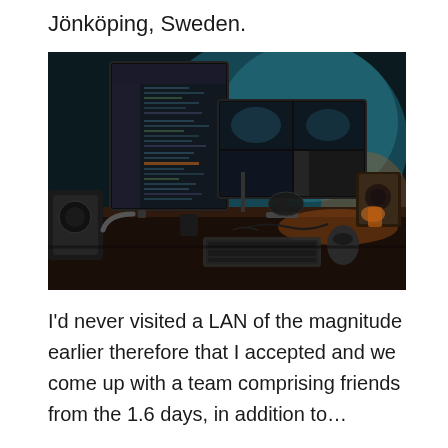Jönköping, Sweden.
[Figure (photo): A dark gaming/creative workstation desk setup with two monitors on monitor arms showing code/editing software, a keyboard, mouse, headphones, speakers, and ambient teal/cyan backlighting on the wall.]
I'd never visited a LAN of the magnitude earlier therefore that I accepted and we come up with a team comprising friends from the 1.6 days, in addition to…